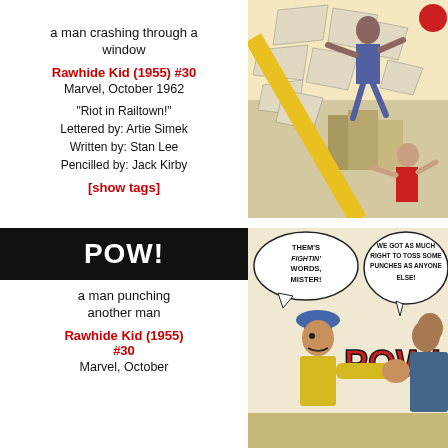a man crashing through a window
Rawhide Kid (1955) #30
Marvel, October 1962
"Riot in Railtown!"
Lettered by: Artie Simek
Written by: Stan Lee
Pencilled by: Jack Kirby
[show tags]
[Figure (illustration): Comic book panel showing a man crashing through a window with debris flying]
POW!
a man punching another man
Rawhide Kid (1955) #30
Marvel, October
[Figure (illustration): Comic book panel showing a man punching another man with speech bubbles: THEM'S FIGHTIN' WORDS, MISTER! and WE GOT AS MUCH RIGHT TO TOSS SOME PUNCHES AS ANYONE ELSE! and POW!]